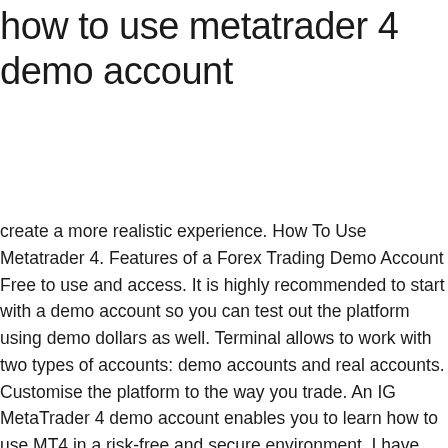how to use metatrader 4 demo account
create a more realistic experience. How To Use Metatrader 4. Features of a Forex Trading Demo Account Free to use and access. It is highly recommended to start with a demo account so you can test out the platform using demo dollars as well. Terminal allows to work with two types of accounts: demo accounts and real accounts. Customise the platform to the way you trade. An IG MetaTrader 4 demo account enables you to learn how to use MT4 in a risk-free and secure environment. I have selected 45301720 account and entered login data I have received in message on trading terminal. CFD Accounts provided by IG International Limited. At first the app may be a bit confusing so I did make this beginner friendly. IG International Limited receives services from other members of the IG Group including IG Markets Limited. Important data that you need to enter is: As you can see on the image below I have entered some data which is not so important to open demo account. a) Download and install MT4.exe. Of course, the best way to get these tips and techniques to really sink in is to go ahead and try them out for yourself using MetaTrader 4. Please verify that your